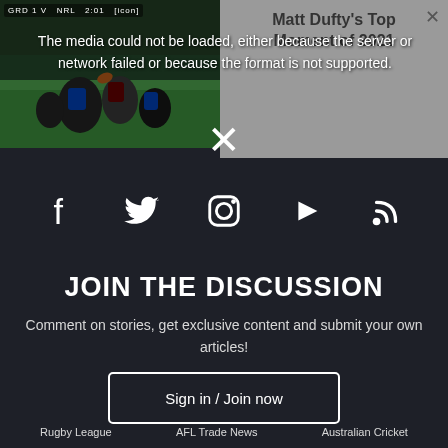[Figure (screenshot): Sports video player screenshot showing a rugby league game on the left half, and a gray panel with 'Matt Dufty's Top Moment of 2021' title on the right half. There is an error message overlay: 'The media could not be loaded, either because the server or network failed or because the format is not supported.' A close X button is visible.]
[Figure (infographic): Social media icons row: Facebook, Twitter, Instagram, YouTube, RSS feed icons in white on dark background, with a large white X close button above them.]
JOIN THE DISCUSSION
Comment on stories, get exclusive content and submit your own articles!
Sign in / Join now
Rugby League   AFL Trade News   Australian Cricket